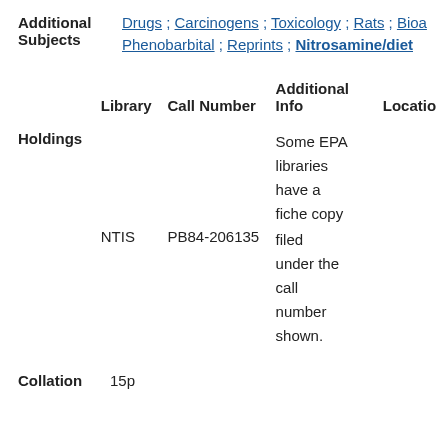Additional Subjects: Drugs ; Carcinogens ; Toxicology ; Rats ; Bioa... Phenobarbital ; Reprints ; Nitrosamine/diet...
| Library | Call Number | Additional Info | Location |
| --- | --- | --- | --- |
| NTIS | PB84-206135 | Some EPA libraries have a fiche copy filed under the call number shown. |  |
Holdings
Collation  15p